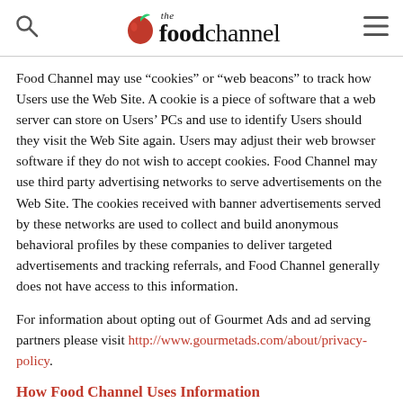the food channel
Food Channel may use “cookies” or “web beacons” to track how Users use the Web Site. A cookie is a piece of software that a web server can store on Users’ PCs and use to identify Users should they visit the Web Site again. Users may adjust their web browser software if they do not wish to accept cookies. Food Channel may use third party advertising networks to serve advertisements on the Web Site. The cookies received with banner advertisements served by these networks are used to collect and build anonymous behavioral profiles by these companies to deliver targeted advertisements and tracking referrals, and Food Channel generally does not have access to this information.
For information about opting out of Gourmet Ads and ad serving partners please visit http://www.gourmetads.com/about/privacy-policy.
How Food Channel Uses Information